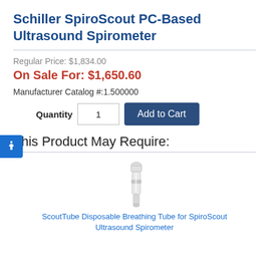Schiller SpiroScout PC-Based Ultrasound Spirometer
Regular Price: $1,834.00
On Sale For: $1,650.60
Manufacturer Catalog #:1.500000
Quantity  1  Add to Cart
This Product May Require:
[Figure (photo): ScoutTube disposable breathing tube product photo, white/grey colored mouthpiece tube on white background]
ScoutTube Disposable Breathing Tube for SpiroScout Ultrasound Spirometer